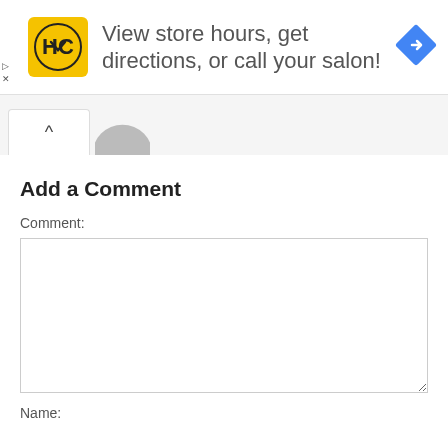[Figure (infographic): Advertisement banner: HC logo (yellow background with HC text) and navigation icon (blue diamond with right arrow). Text reads: View store hours, get directions, or call your salon!]
View store hours, get directions, or call your salon!
[Figure (photo): Partially visible user profile avatar silhouette in gray, with a tab showing an up caret (^) symbol]
Add a Comment
Comment:
Name: